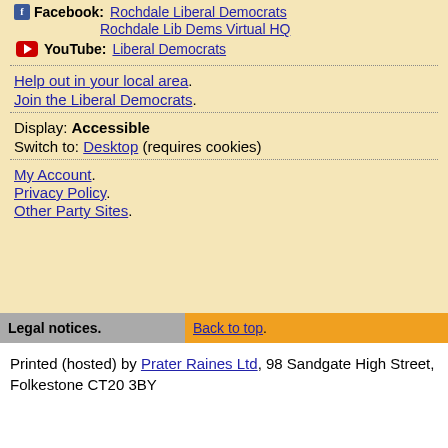Facebook: Rochdale Liberal Democrats
Rochdale Lib Dems Virtual HQ
YouTube: Liberal Democrats
Help out in your local area.
Join the Liberal Democrats.
Display: Accessible
Switch to: Desktop (requires cookies)
My Account.
Privacy Policy.
Other Party Sites.
Legal notices. Back to top.
Printed (hosted) by Prater Raines Ltd, 98 Sandgate High Street, Folkestone CT20 3BY